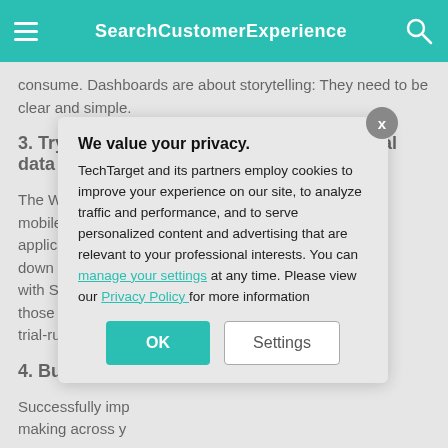SearchCustomerExperience
consume. Dashboards are about storytelling: They need to be clear and simple.
3. Try a proof-of-concept with organizational data
The Wave Analy… mobile experience… application) integ… down capabilities… with Salesforce a… those capabilities… trial-run of Wave…
4. Build an ana…
Successfully imp… making across y…
We value your privacy. TechTarget and its partners employ cookies to improve your experience on our site, to analyze traffic and performance, and to serve personalized content and advertising that are relevant to your professional interests. You can manage your settings at any time. Please view our Privacy Policy for more information